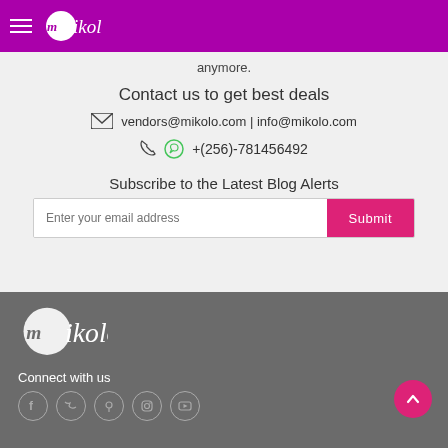Mikolo - navigation header with logo
anymore.
Contact us to get best deals
vendors@mikolo.com | info@mikolo.com
+(256)-781456492
Subscribe to the Latest Blog Alerts
Enter your email address  Submit
[Figure (logo): Mikolo white logo on grey footer]
Connect with us
[Figure (infographic): Social media icons: Facebook, Twitter, Pinterest, Instagram, YouTube]